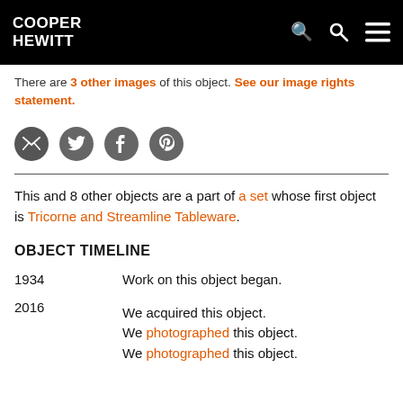COOPER HEWITT
There are 3 other images of this object. See our image rights statement.
[Figure (infographic): Social sharing icons: email, Twitter, Tumblr, Pinterest]
This and 8 other objects are a part of a set whose first object is Tricorne and Streamline Tableware.
OBJECT TIMELINE
| Year | Event |
| --- | --- |
| 1934 | Work on this object began. |
| 2016 | We acquired this object.
We photographed this object.
We photographed this object. |